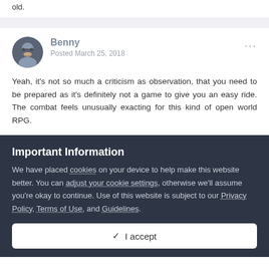old.
Benny
Posted March 25, 2018
Yeah, it's not so much a criticism as observation, that you need to be prepared as it's definitely not a game to give you an easy ride. The combat feels unusually exacting for this kind of open world RPG.
Important Information
We have placed cookies on your device to help make this website better. You can adjust your cookie settings, otherwise we'll assume you're okay to continue. Use of this website is subject to our Privacy Policy, Terms of Use, and Guidelines.
✓  I accept